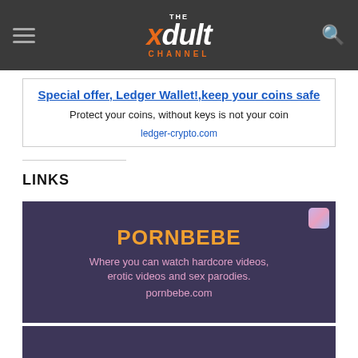THE xdult CHANNEL
[Figure (infographic): Advertisement block for Ledger Wallet with title, description, and URL]
LINKS
[Figure (infographic): PORNBEBE link card with dark purple background, title in orange, description and URL in pink. Small colorful icon top right.]
[Figure (infographic): Second link card with dark purple background, partially visible at bottom of page.]